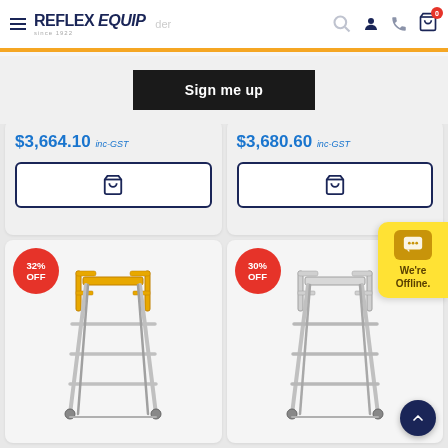[Figure (screenshot): Reflex Equip e-commerce website header with hamburger menu, logo, search bar placeholder, user icon, phone icon, and cart icon with badge showing 0]
Sign me up
$3,664.10 inc-GST
$3,680.60 inc-GST
[Figure (photo): Yellow industrial platform ladder with wheels, 32% OFF badge]
[Figure (photo): Silver/aluminium platform ladder with wheels, 30% OFF badge]